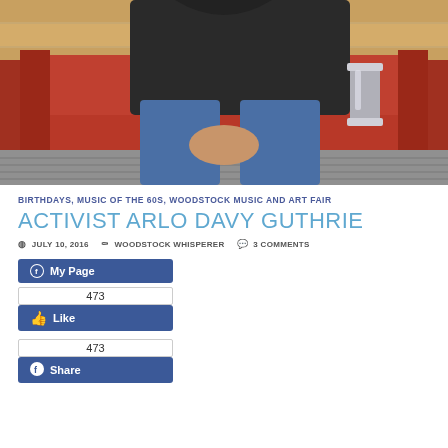[Figure (photo): Person sitting on a wooden red bench outdoors, wearing a dark jacket and blue jeans, hands clasped. A silver travel mug is on the bench beside them. Background shows wooden wall paneling and a grey deck floor.]
BIRTHDAYS, MUSIC OF THE 60S, WOODSTOCK MUSIC AND ART FAIR
ACTIVIST ARLO DAVY GUTHRIE
JULY 10, 2016   WOODSTOCK WHISPERER   3 COMMENTS
[Figure (screenshot): Facebook My Page button (blue), like count 473, Like button (blue)]
[Figure (screenshot): Facebook share count 473, Share button (blue)]